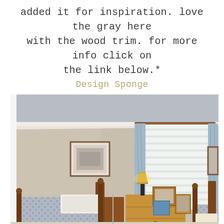added it for inspiration. love the gray here with the wood trim. for more info click on the link below.*
Design Sponge
[Figure (photo): A bedroom interior with two twin beds with wooden frames and blue/gray patterned bedding, a wooden nightstand between them with a lamp and framed photos, a window with light blue curtains and white blinds, white crown molding, beige/gray walls, and a framed picture on the wall.]
...